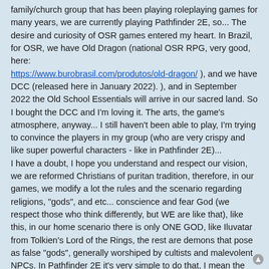family/church group that has been playing roleplaying games for many years, we are currently playing Pathfinder 2E, so... The desire and curiosity of OSR games entered my heart. In Brazil, for OSR, we have Old Dragon (national OSR RPG, very good, here: https://www.burobrasil.com/produtos/old-dragon/ ), and we have DCC (released here in January 2022). ), and in September 2022 the Old School Essentials will arrive in our sacred land. So I bought the DCC and I'm loving it. The arts, the game's atmosphere, anyway... I still haven't been able to play, I'm trying to convince the players in my group (who are very crispy and like super powerful characters - like in Pathfinder 2E)... I have a doubt, I hope you understand and respect our vision, we are reformed Christians of puritan tradition, therefore, in our games, we modify a lot the rules and the scenario regarding religions, "gods", and etc... conscience and fear God (we respect those who think differently, but WE are like that), like this, in our home scenario there is only ONE GOD, like Iluvatar from Tolkien's Lord of the Rings, the rest are demons that pose as false "gods", generally worshiped by cultists and malevolent NPCs. In Pathfinder 2E it's very simple to do that, I mean the game mechanics. Do you have any tips for me to be able to enjoy all that the DCC can offer us while respecting our religion and freedom of conscience? I say this because there are a lot of tables in the game that make references to things that make us uncomfortable, but overall and other than that, I've found the game, the arts and the mood of OSR to be wonderful. Really, I need help. Thanks a lot for the tips!